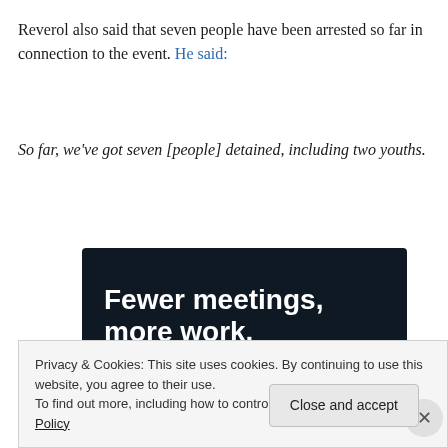Reverol also said that seven people have been arrested so far in connection to the event. He said:
So far, we've got seven [people] detained, including two youths.
[Figure (screenshot): Dark advertisement banner with white bold text reading 'Fewer meetings, more work.' and a 'Get started for free' button with a rounded border.]
Privacy & Cookies: This site uses cookies. By continuing to use this website, you agree to their use.
To find out more, including how to control cookies, see here: Cookie Policy